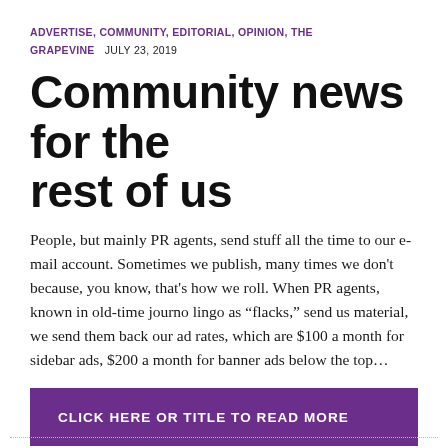ADVERTISE, COMMUNITY, EDITORIAL, OPINION, THE GRAPEVINE   JULY 23, 2019
Community news for the rest of us
People, but mainly PR agents, send stuff all the time to our e-mail account. Sometimes we publish, many times we don't because, you know, that's how we roll. When PR agents, known in old-time journo lingo as “flacks,” send us material, we send them back our ad rates, which are $100 a month for sidebar ads, $200 a month for banner ads below the top…
CLICK HERE OR TITLE TO READ MORE